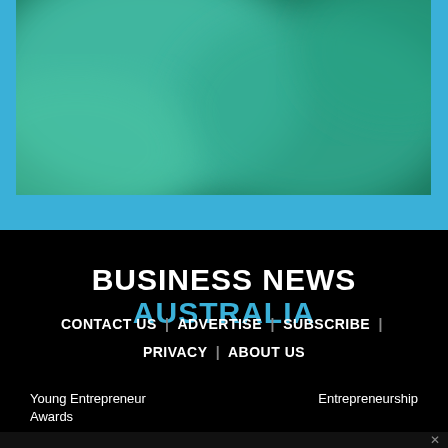[Figure (illustration): Abstract blurred green and teal gradient image inside a light blue bordered frame]
BUSINESS NEWS AUSTRALIA
CONTACT US | ADVERTISE | SUBSCRIBE | PRIVACY | ABOUT US
Young Entrepreneur Awards
Entrepreneurship